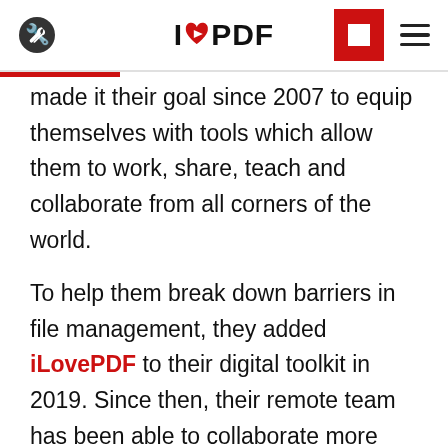I❤PDF
made it their goal since 2007 to equip themselves with tools which allow them to work, share, teach and collaborate from all corners of the world.
To help them break down barriers in file management, they added iLovePDF to their digital toolkit in 2019. Since then, their remote team has been able to collaborate more easily and focus more time on their mission: To empower young people to drive positive change towards more sustainable, [continues]